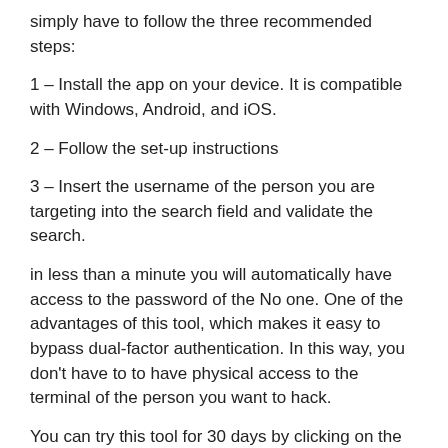simply have to follow the three recommended steps:
1 – Install the app on your device. It is compatible with Windows, Android, and iOS.
2 – Follow the set-up instructions
3 – Insert the username of the person you are targeting into the search field and validate the search.
in less than a minute you will automatically have access to the password of the No one. One of the advantages of this tool, which makes it easy to bypass dual-factor authentication. In this way, you don't have to to have physical access to the terminal of the person you want to hack.
You can try this tool for 30 days by clicking on the following link https://www.passwordrevelator.net/fr/passdecryptor